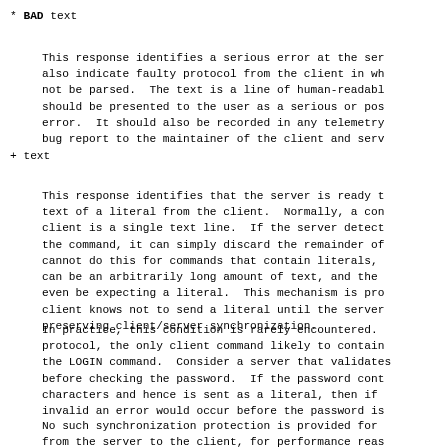* BAD text
This response identifies a serious error at the ser
also indicate faulty protocol from the client in wh
not be parsed.  The text is a line of human-readabl
should be presented to the user as a serious or pos
error.  It should also be recorded in any telemetry
bug report to the maintainer of the client and serv
+ text
This response identifies that the server is ready t
text of a literal from the client.  Normally, a con
client is a single text line.  If the server detect
the command, it can simply discard the remainder of
cannot do this for commands that contain literals,
can be an arbitrarily long amount of text, and the
even be expecting a literal.  This mechanism is pro
client knows not to send a literal until the server
preserving client/server synchronization.
In practice, this condition is rarely encountered.
protocol, the only client command likely to contain
the LOGIN command.  Consider a server that validates
before checking the password.  If the password cont
characters and hence is sent as a literal, then if
invalid an error would occur before the password is
No such synchronization protection is provided for
from the server to the client, for performance reas